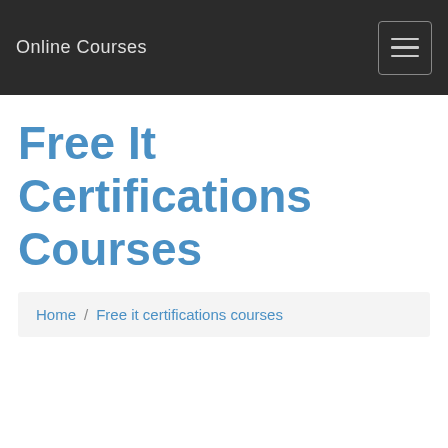Online Courses
Free It Certifications Courses
Home / Free it certifications courses